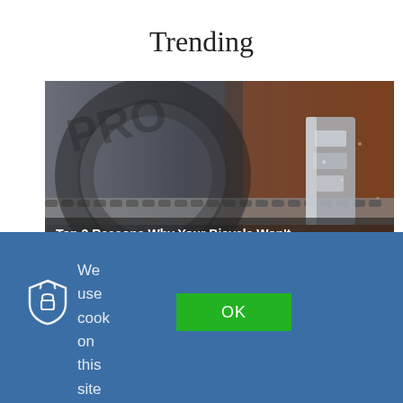Trending
[Figure (photo): Close-up photo of bicycle drivetrain components including chain, cassette, and derailleurs with 'Top 3 Reasons Why Your Bicycle Won't Shift' overlaid at the bottom]
We use cook on this site
[Figure (logo): Shield with lock and circular arrows icon (cookie consent logo) in white outline on blue background]
OK